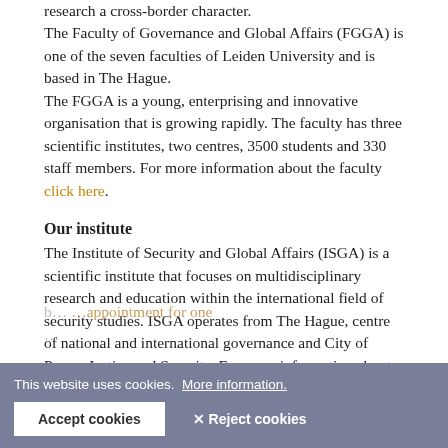research a cross-border character. The Faculty of Governance and Global Affairs (FGGA) is one of the seven faculties of Leiden University and is based in The Hague.
The FGGA is a young, enterprising and innovative organisation that is growing rapidly. The faculty has three scientific institutes, two centres, 3500 students and 330 staff members. For more information about the faculty click here.
Our institute
The Institute of Security and Global Affairs (ISGA) is a scientific institute that focuses on multidisciplinary research and education within the international field of security studies. ISGA operates from The Hague, centre of national and international governance and City of Peace, Justice and Security. For more information about ISGA, please visit our website.
This website uses cookies. More information.
Accept cookies   Reject cookies